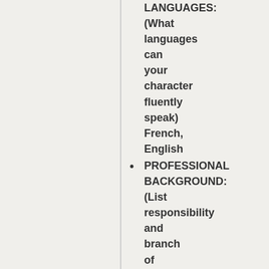LANGUAGES: (What languages can your character fluently speak) French, English
PROFESSIONAL BACKGROUND: (List responsibility and branch of service, if your character has prior service in the military